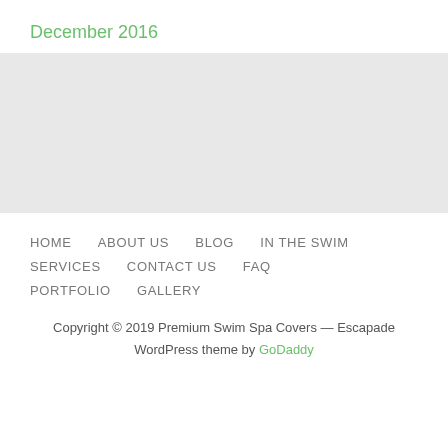December 2016
[Figure (other): Gray placeholder/advertisement block]
HOME    ABOUT US    BLOG    IN THE SWIM    SERVICES    CONTACT US    FAQ    PORTFOLIO    GALLERY
Copyright © 2019 Premium Swim Spa Covers — Escapade WordPress theme by GoDaddy